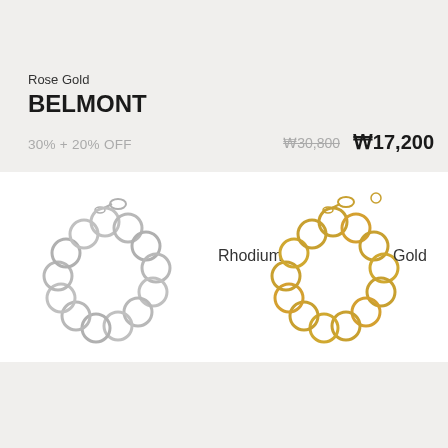Rose Gold
BELMONT
30% + 20% OFF
₩30,800  ₩17,200
[Figure (photo): Silver/rhodium chain link bracelet made of circular rings, arranged in a circular shape, shown on white background]
Rhodium
[Figure (photo): Gold chain link bracelet made of circular rings, arranged in a circular shape, shown on white background]
Gold